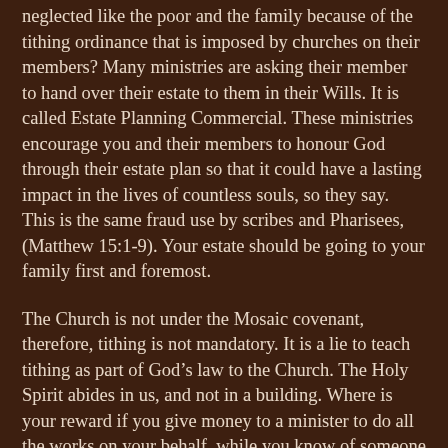neglected like the poor and the family because of the tithing ordinance that is imposed by churches on their members? Many ministries are asking their member to hand over their estate to them in their Wills. It is called Estate Planning Commercial. These ministries encourage you and their members to honour God through their estate plan so that it could have a lasting impact in the lives of countless souls, so they say. This is the same fraud use by scribes and Pharisees, (Matthew 15:1-9). Your estate should be going to your family first and foremost.
The Church is not under the Mosaic covenant, therefore, tithing is not mandatory. It is a lie to teach tithing as part of God’s law to the Church. The Holy Spirit abides in us, and not in a building. Where is your reward if you give money to a minister to do all the works on your behalf, while you know of someone who needs assistance? Tithing is dead work.